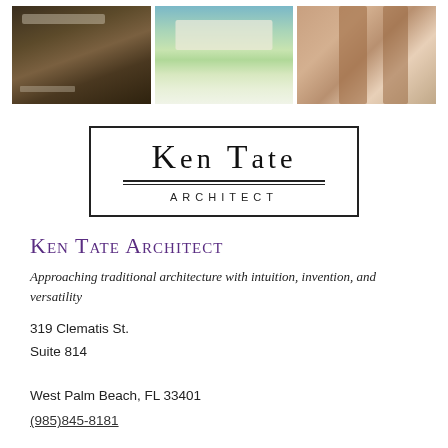[Figure (photo): Three architectural/landscape photographs side by side: left shows a garden path with gate, center shows a house/estate with green lawn, right shows classical columns on a building.]
[Figure (logo): Ken Tate Architect logo in a rectangular border. Large serif text 'KEN TATE' with double rule underneath and 'ARCHITECT' in spaced capitals below.]
Ken Tate Architect
Approaching traditional architecture with intuition, invention, and versatility
319 Clematis St.
Suite 814

West Palm Beach, FL 33401
(985)845-8181